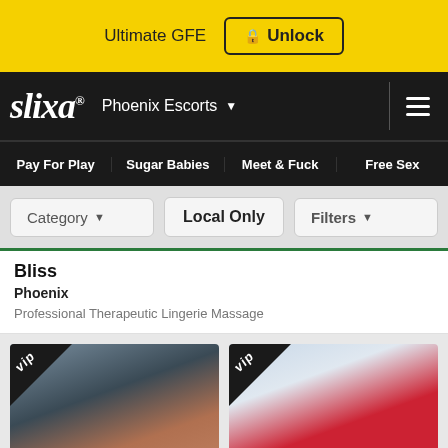Ultimate GFE  🔒 Unlock
slixa® Phoenix Escorts
Pay For Play  Sugar Babies  Meet & Fuck  Free Sex
Category ▼   Local Only   Filters ▼
Bliss
Phoenix
Professional Therapeutic Lingerie Massage
[Figure (photo): Two VIP escort profile photos side by side with VIP corner badges]
[Figure (photo): Two VIP escort profile photos side by side with VIP corner badges]